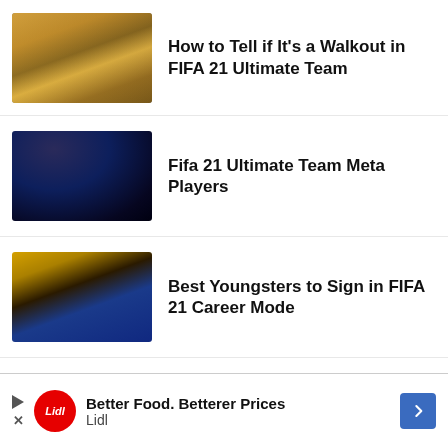How to Tell if It's a Walkout in FIFA 21 Ultimate Team
Fifa 21 Ultimate Team Meta Players
Best Youngsters to Sign in FIFA 21 Career Mode
How to Do a Bicycle Kick in Fifa 21
Better Food. Betterer Prices Lidl